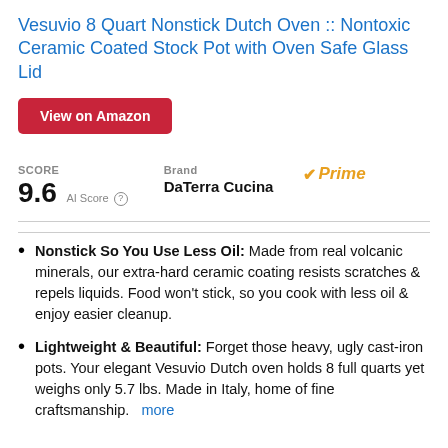Vesuvio 8 Quart Nonstick Dutch Oven :: Nontoxic Ceramic Coated Stock Pot with Oven Safe Glass Lid
View on Amazon
SCORE 9.6 AI Score | Brand DaTerra Cucina | Prime
Nonstick So You Use Less Oil: Made from real volcanic minerals, our extra-hard ceramic coating resists scratches & repels liquids. Food won't stick, so you cook with less oil & enjoy easier cleanup.
Lightweight & Beautiful: Forget those heavy, ugly cast-iron pots. Your elegant Vesuvio Dutch oven holds 8 full quarts yet weighs only 5.7 lbs. Made in Italy, home of fine craftsmanship.  more